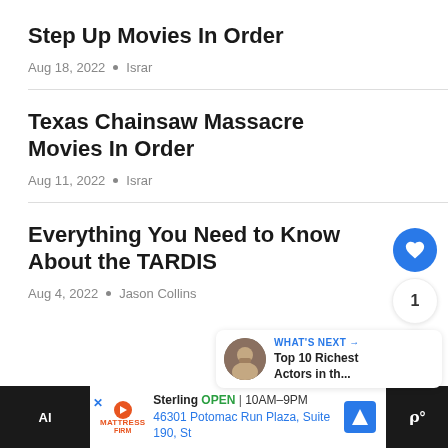Step Up Movies In Order
Aug 18, 2022 • Israr
Texas Chainsaw Massacre Movies In Order
Aug 11, 2022 • Israr
Everything You Need to Know About the TARDIS
Aug 4, 2022 • Jason Collins
WHAT'S NEXT → Top 10 Richest Actors in th...
Sterling OPEN 10AM–9PM 46301 Potomac Run Plaza, Suite 190, St